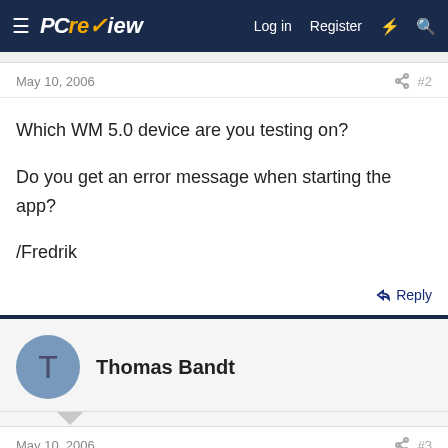PC review — Log in  Register
May 10, 2006  #2
Which WM 5.0 device are you testing on?

Do you get an error message when starting the app?

/Fredrik
Reply
Thomas Bandt
May 10, 2006  #3
Fredrik said:
Which WM 5.0 device are you testing on?